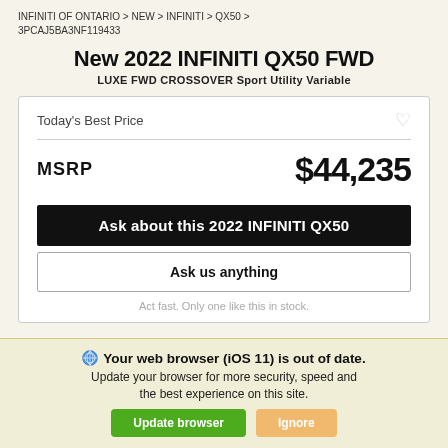INFINITI OF ONTARIO > NEW > INFINITI > QX50 > 3PCAJ5BA3NF119433
New 2022 INFINITI QX50 FWD
LUXE FWD CROSSOVER Sport Utility Variable
| Today's Best Price |  |
| MSRP | $44,235 |
| Ask about this 2022 INFINITI QX50 |  |
| Ask us anything |  |
| Act fast. Only one like this in stock. |  |
Your web browser (iOS 11) is out of date. Update your browser for more security, speed and the best experience on this site.